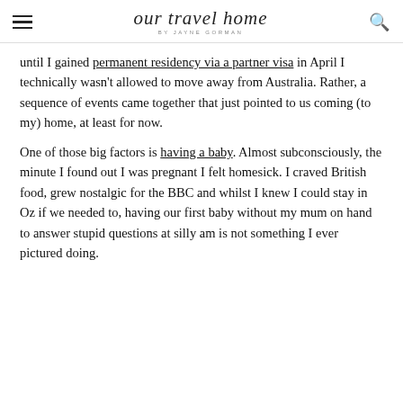our travel home BY JAYNE GORMAN
until I gained permanent residency via a partner visa in April I technically wasn't allowed to move away from Australia. Rather, a sequence of events came together that just pointed to us coming (to my) home, at least for now.
One of those big factors is having a baby. Almost subconsciously, the minute I found out I was pregnant I felt homesick. I craved British food, grew nostalgic for the BBC and whilst I knew I could stay in Oz if we needed to, having our first baby without my mum on hand to answer stupid questions at silly am is not something I ever pictured doing.